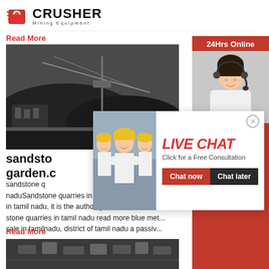[Figure (logo): Crusher Mining Equipment logo with red shopping bag icon and bold CRUSHER text]
Read More
[Figure (photo): Mining/quarry facility with dark material piles, cables, and industrial structures]
sandsto... garden.c...
sandstone quarries in tamilnadu bpb35fr st... naduSandstone quarries in tamilnadu bpb35fr st stone quarries in tamil nadu bpb35fr, in tamil nadu, it is the authority and contractor o... stone quarries in tamil nadu read more blue met... sale in tamilnadu, district of tamil nadu a passiv...
Read More
[Figure (photo): Aerial view of mining/quarry equipment spread across terrain]
[Figure (infographic): Live Chat popup overlay with construction workers photo, LIVE CHAT heading, Chat now and Chat later buttons]
[Figure (photo): Customer service agent with headset - 24Hrs Online sidebar]
24Hrs Online
Need questions & suggestion?
Chat Now
Enquiry
limingjlmofen@sina.com